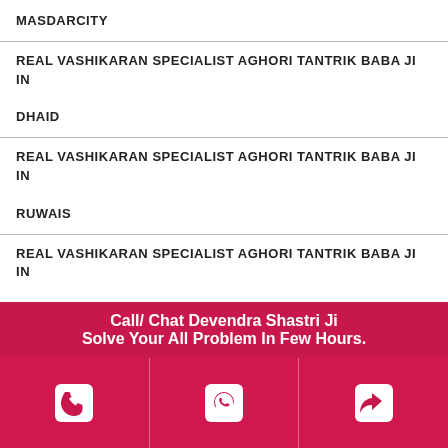MASDARCITY
REAL VASHIKARAN SPECIALIST AGHORI TANTRIK BABA JI IN DHAID
REAL VASHIKARAN SPECIALIST AGHORI TANTRIK BABA JI IN RUWAIS
REAL VASHIKARAN SPECIALIST AGHORI TANTRIK BABA JI IN HATTA
REAL VASHIKARAN SPECIALIST AGHORI TANTRIK BABA JI IN UMMALQUWAIN
REAL VASHIKARAN SPECIALIST AGHORI TANTRIK BABA JI IN
Call/ Chat Devendra Shastri Ji
Solve Your All Problem In Few Hours.
Call / WhatsApp / Share